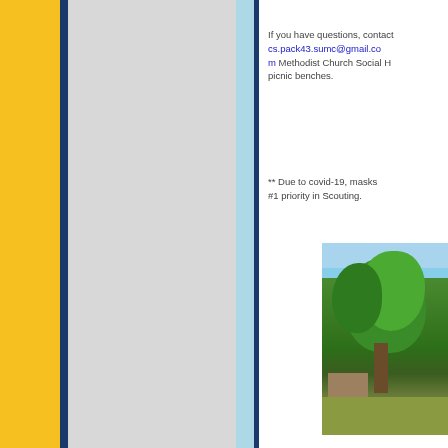If you have questions, contact cs.pack43.sumc@gmail.com Methodist Church Social Hall picnic benches.
** Due to covid-19, masks are #1 priority in Scouting.
[Figure (photo): Photo of a large green tree with building visible at base, taken outdoors on a sunny day]